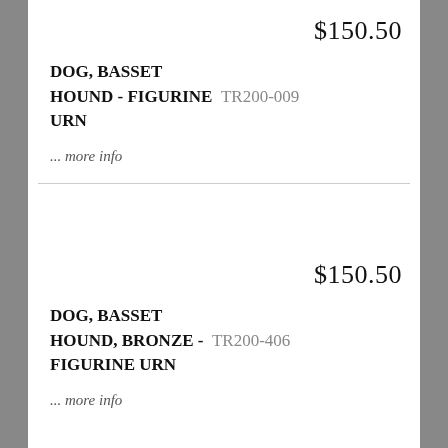$150.50
DOG, BASSET HOUND - FIGURINE TR200-009 URN
... more info
$150.50
DOG, BASSET HOUND, BRONZE - FIGURINE URN TR200-406
... more info